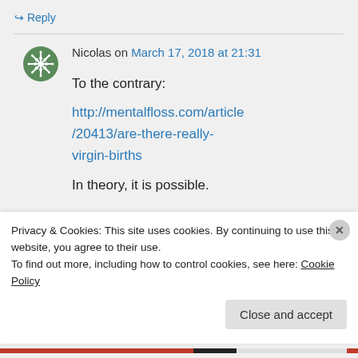↪ Reply
Nicolas on March 17, 2018 at 21:31
To the contrary:
http://mentalfloss.com/article/20413/are-there-really-virgin-births
In theory, it is possible.
Privacy & Cookies: This site uses cookies. By continuing to use this website, you agree to their use.
To find out more, including how to control cookies, see here: Cookie Policy
Close and accept